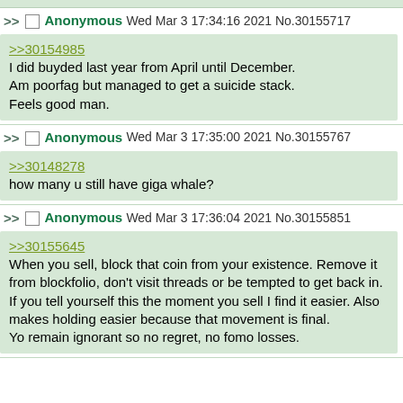Anonymous Wed Mar 3 17:34:16 2021 No.30155717
>>30154985
I did buyded last year from April until December. Am poorfag but managed to get a suicide stack. Feels good man.
Anonymous Wed Mar 3 17:35:00 2021 No.30155767
>>30148278
how many u still have giga whale?
Anonymous Wed Mar 3 17:36:04 2021 No.30155851
>>30155645
When you sell, block that coin from your existence. Remove it from blockfolio, don't visit threads or be tempted to get back in. If you tell yourself this the moment you sell I find it easier. Also makes holding easier because that movement is final.
Yo remain ignorant so no regret, no fomo losses.